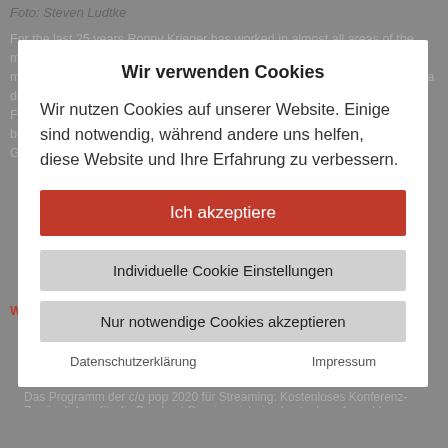Foto: Steven Ludtke
For the last 25 years Ronny Krieger has worked in almost all areas of the music business as an artist, DJ and producer, PR agent and artist management. Ronny worked in distribution, in a record store and managed a download shop (VP & CPO of Beatport). Since 2010 he is a consultant for FatDrop. D... L... c... has recently become a member of the "Digitalization and KI" expert committee of the German Cultural Council.
Wir verwenden Cookies
Wir nutzen Cookies auf unserer Website. Einige sind notwendig, während andere uns helfen, diese Website und Ihre Erfahrung zu verbessern.
Ich akzeptiere
Weiterführende Informationen:
Die NUT indie Days 2020
Individuelle Cookie Einstellungen
c/o pop 2020
Nur notwendige Cookies akzeptieren
Das Programm der c/o pop 2020 für Streaming: Kostenloses Konferenz-Zuganglichen für die Breakout Sessions ist eine kostenlose Anmeldung erforderlich. Das kostenlose c/o pop Convention Online-Ticket gibt es unter diesem Link.
Datenschutzerklärung        Impressum